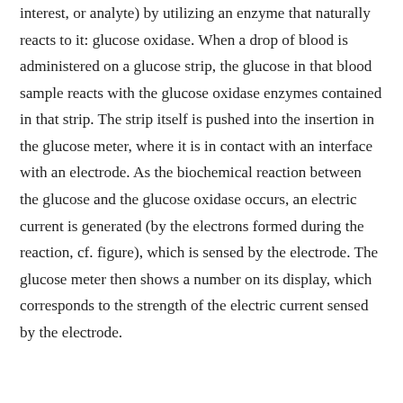interest, or analyte) by utilizing an enzyme that naturally reacts to it: glucose oxidase. When a drop of blood is administered on a glucose strip, the glucose in that blood sample reacts with the glucose oxidase enzymes contained in that strip. The strip itself is pushed into the insertion in the glucose meter, where it is in contact with an interface with an electrode. As the biochemical reaction between the glucose and the glucose oxidase occurs, an electric current is generated (by the electrons formed during the reaction, cf. figure), which is sensed by the electrode. The glucose meter then shows a number on its display, which corresponds to the strength of the electric current sensed by the electrode.